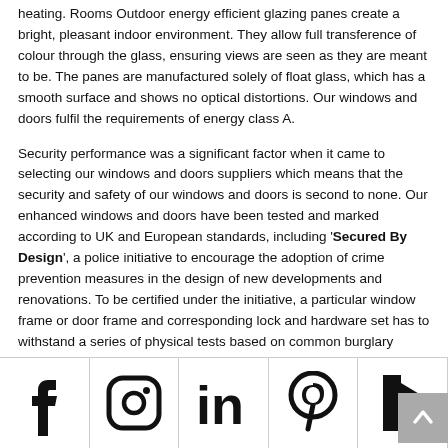heating. Rooms Outdoor energy efficient glazing panes create a bright, pleasant indoor environment. They allow full transference of colour through the glass, ensuring views are seen as they are meant to be. The panes are manufactured solely of float glass, which has a smooth surface and shows no optical distortions. Our windows and doors fulfil the requirements of energy class A.
Security performance was a significant factor when it came to selecting our windows and doors suppliers which means that the security and safety of our windows and doors is second to none. Our enhanced windows and doors have been tested and marked according to UK and European standards, including 'Secured By Design', a police initiative to encourage the adoption of crime prevention measures in the design of new developments and renovations. To be certified under the initiative, a particular window frame or door frame and corresponding lock and hardware set has to withstand a series of physical tests based on common burglary methods.
[Figure (other): Social media icons footer bar: Facebook, Instagram, LinkedIn, Pinterest, Houzz. A scroll-to-top button appears in the bottom right corner.]